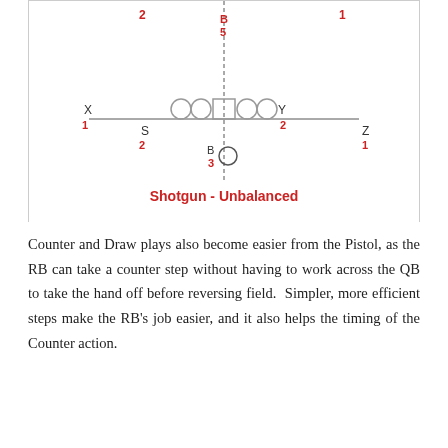[Figure (other): Football formation diagram labeled 'Shotgun - Unbalanced'. Shows offensive line with center (square), guards and tackles (circles), with player labels X(1), S(2), B(2/5), Y(2), Z(1), B(3), Q positioned around the line of scrimmage. Numbers in red indicate coverage assignments.]
Shotgun - Unbalanced
Counter and Draw plays also become easier from the Pistol, as the RB can take a counter step without having to work across the QB to take the hand off before reversing field.  Simpler, more efficient steps make the RB's job easier, and it also helps the timing of the Counter action.